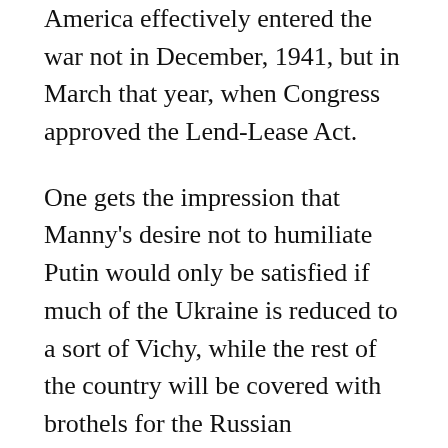America effectively entered the war not in December, 1941, but in March that year, when Congress approved the Lend-Lease Act.
One gets the impression that Manny's desire not to humiliate Putin would only be satisfied if much of the Ukraine is reduced to a sort of Vichy, while the rest of the country will be covered with brothels for the Russian occupation contingent.
Having thus selected Zelensky for the role of Pétain, Manny then came up with an inspired idea borrowed from the ancient rulers of Persia. They saw the world as concentric circles of virtue. Persia herself was in the middle, with the virtue of other countries attenuating in